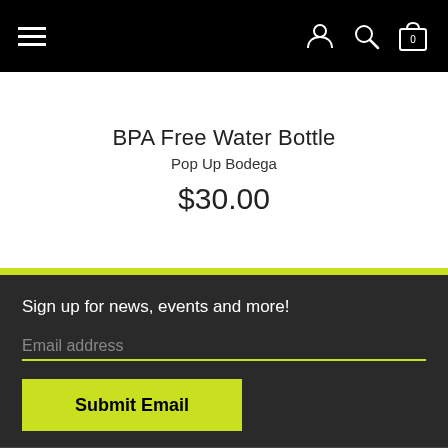Navigation bar with hamburger menu and icons for account, search, and cart (0)
BPA Free Water Bottle
Pop Up Bodega
$30.00
Sign up for news, events and more!
Email address
Submit Email